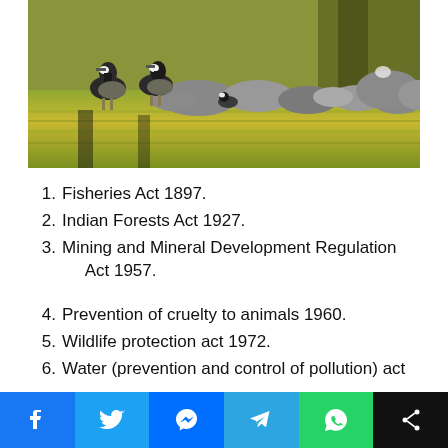[Figure (photo): Canada geese standing near a rocky shoreline beside a pond with golden-green water reflections and trees in background]
1. Fisheries Act 1897.
2. Indian Forests Act 1927.
3. Mining and Mineral Development Regulation Act 1957.
4. Prevention of cruelty to animals 1960.
5. Wildlife protection act 1972.
6. Water (prevention and control of pollution) act
[Figure (infographic): Social media share buttons row: Facebook, Twitter, Messenger, Telegram, WhatsApp, Share]